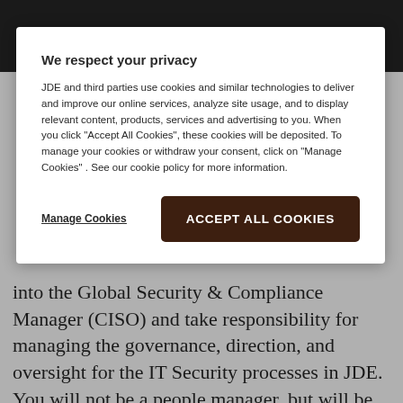[Figure (screenshot): Cookie consent modal overlay on a dark/gray background. Contains 'We respect your privacy' heading, privacy text, 'Manage Cookies' link, and 'ACCEPT ALL COOKIES' button.]
into the Global Security & Compliance Manager (CISO) and take responsibility for managing the governance, direction, and oversight for the IT Security processes in JDE. You will not be a people manager, but will be responsible to steer our external IT security service